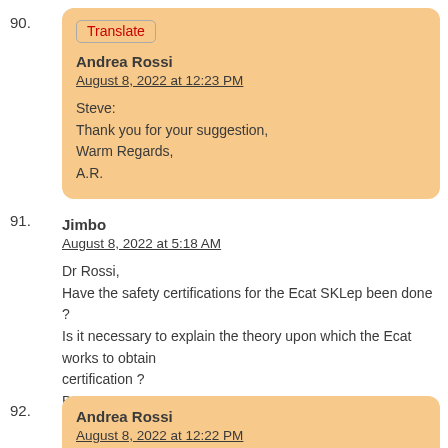90. [Translate button] Andrea Rossi
August 8, 2022 at 12:23 PM

Steve:
Thank you for your suggestion,
Warm Regards,
A.R.
91. Jimbo
August 8, 2022 at 5:18 AM

Dr Rossi,
Have the safety certifications for the Ecat SKLep been done ?
Is it necessary to explain the theory upon which the Ecat works to obtain certification ?
Best
Jimbo
92. Andrea Rossi
August 8, 2022 at 12:22 PM